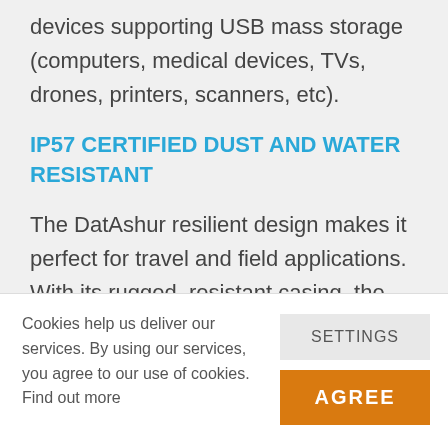devices supporting USB mass storage (computers, medical devices, TVs, drones, printers, scanners, etc).
IP57 CERTIFIED DUST AND WATER RESISTANT
The DatAshur resilient design makes it perfect for travel and field applications. With its rugged, resistant casing, the
Cookies help us deliver our services. By using our services, you agree to our use of cookies. Find out more